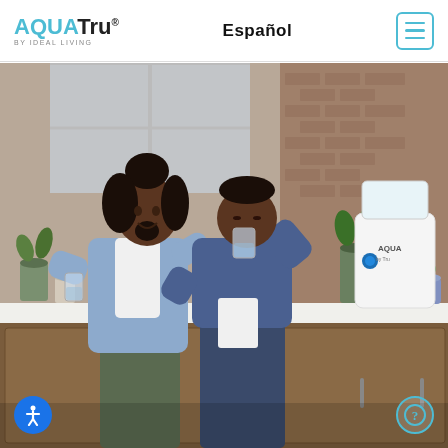AQUATru® by Ideal Living — Español — Navigation menu
[Figure (photo): A smiling Black woman with curly hair in a bun, wearing a light blue denim shirt, holds a glass of water. Beside her, a young Black boy in a denim jacket drinks from a glass of water. They stand in a modern kitchen with wood cabinetry and a white countertop. An AQUATru water purifier is visible on the counter to the right. Plants and brick wall visible in the background.]